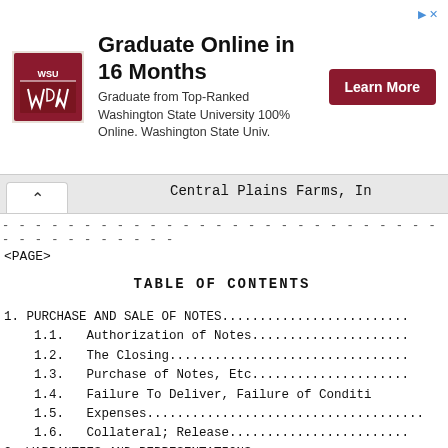[Figure (other): Advertisement banner for Washington State University online graduate program with logo, text, and 'Learn More' button]
Central Plains Farms, In
- - - - - - - - - - - - - - - - - - - - - - - - - - - - - - - - - - - - - - - -
<PAGE>
TABLE OF CONTENTS
1. PURCHASE AND SALE OF NOTES.......................
1.1.   Authorization of Notes...............
1.2.   The Closing..............................
1.3.   Purchase of Notes, Etc..................
1.4.   Failure To Deliver, Failure of Conditi
1.5.   Expenses.................................
1.6.   Collateral; Release......................
2. WARRANTIES AND REPRESENTATIONS.................
2.1.   Material Adverse Change.